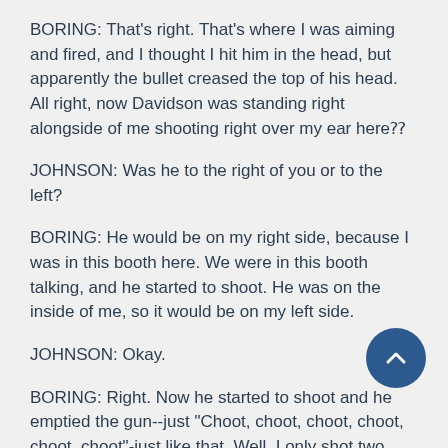BORING: That's right. That's where I was aiming and fired, and I thought I hit him in the head, but apparently the bullet creased the top of his head. All right, now Davidson was standing right alongside of me shooting right over my ear here⁇
JOHNSON: Was he to the right of you or to the left?
BORING: He would be on my right side, because I was in this booth here. We were in this booth talking, and he started to shoot. He was on the inside of me, so it would be on my left side.
JOHNSON: Okay.
BORING: Right. Now he started to shoot and he emptied the gun--just "Choot, choot, choot, choot, choot, choot"-just like that. Well, I only shot two shots. I got the rounds downstairs, to show, you know. So I pulled back the gun again and I'm positive I hit this baby